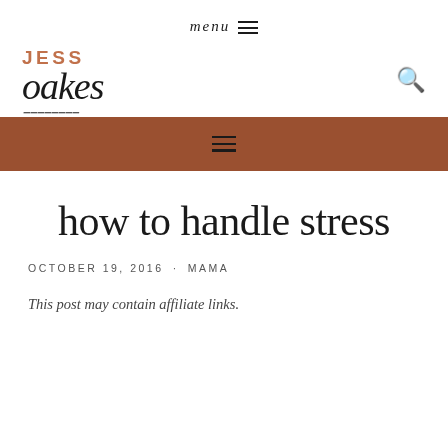menu ☰
[Figure (logo): Jess Oakes blog logo — JESS in uppercase terracotta, oakes in cursive script below]
☰ (hamburger menu in brown navigation bar)
how to handle stress
OCTOBER 19, 2016 · MAMA
This post may contain affiliate links.